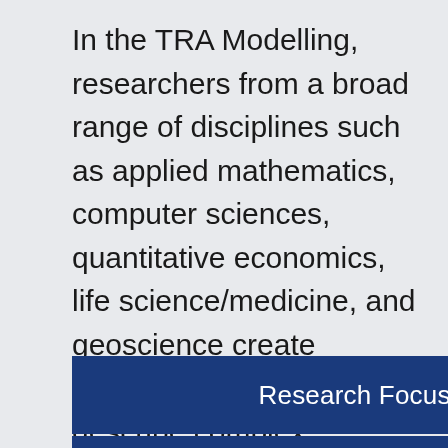In the TRA Modelling, researchers from a broad range of disciplines such as applied mathematics, computer sciences, quantitative economics, life science/medicine, and geoscience create models that not only describe complex systems, but are able to analyze their behavior. This is achieved by the interaction of mathematical modelling, classical observational methods, data analytics, data simulation and creative spirit.
Research Focus & Sub-Schemes
Collaborative/Funded Projects